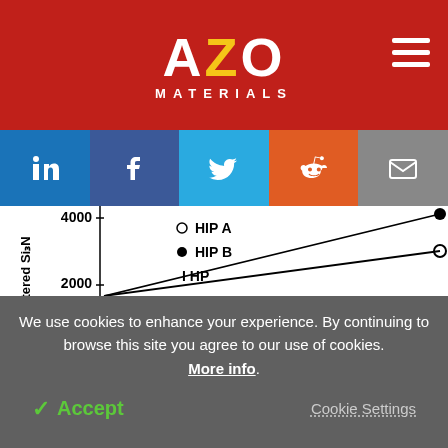AZO MATERIALS
[Figure (other): Social media share buttons: LinkedIn, Facebook, Twitter, Reddit, Email]
[Figure (continuous-plot): Partial line chart showing oxygen content (ppm) in sintered Si3N4 vs some variable. Y-axis shows values 2000 and 4000 ppm. Legend shows HIP A (open circle), HIP B (filled circle), IHP. Two lines are visible trending upward to the right.]
We use cookies to enhance your experience. By continuing to browse this site you agree to our use of cookies. More info.
✓ Accept
Cookie Settings